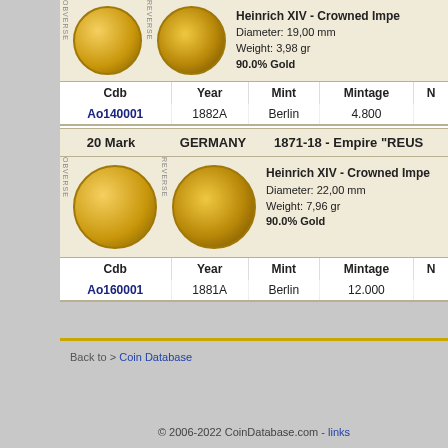[Figure (photo): Obverse and reverse of a small gold coin (10 Mark), showing a portrait on obverse and imperial eagle on reverse]
Heinrich XIV - Crowned Impe...
Diameter: 19,00 mm
Weight: 3,98 gr
90.0% Gold
| Cdb | Year | Mint | Mintage | N... |
| --- | --- | --- | --- | --- |
| Ao140001 | 1882A | Berlin | 4.800 |  |
20 Mark   GERMANY   1871-18 - Empire "REUS...
[Figure (photo): Obverse and reverse of a larger gold coin (20 Mark), showing a portrait on obverse and imperial eagle on reverse]
Heinrich XIV - Crowned Impe...
Diameter: 22,00 mm
Weight: 7,96 gr
90.0% Gold
| Cdb | Year | Mint | Mintage | N... |
| --- | --- | --- | --- | --- |
| Ao160001 | 1881A | Berlin | 12.000 |  |
Back to > Coin Database
© 2006-2022 CoinDatabase.com - links